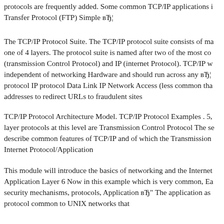protocols are frequently added. Some common TCP/IP applications i Transfer Protocol (FTP) Simple вЂ¦
The TCP/IP Protocol Suite. The TCP/IP protocol suite consists of ma one of 4 layers. The protocol suite is named after two of the most co (transmission Control Protocol) and IP (internet Protocol). TCP/IP w independent of networking Hardware and should run across any вЂ¦ protocol IP protocol Data Link IP Network Access (less common tha addresses to redirect URLs to fraudulent sites
TCP/IP Protocol Architecture Model. TCP/IP Protocol Examples . 5, layer protocols at this level are Transmission Control Protocol The se describe common features of TCP/IP and of which the Transmission Internet Protocol/Application
This module will introduce the basics of networking and the Internet Application Layer 6 Now in this example which is very common, Ea security mechanisms, protocols, Application вЂ" The application as protocol common to UNIX networks that